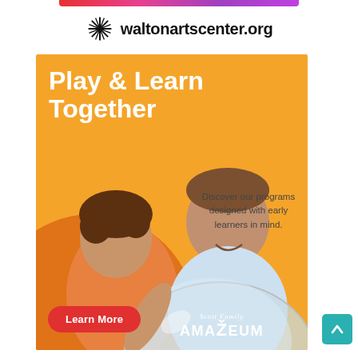waltonartscenter.org
[Figure (infographic): Advertisement for Scott Family Amazeum featuring a father and toddler looking at a clear dome exhibit. Yellow/orange background with text 'Play & Learn Together' and 'Discover our programs designed with early learners in mind.' A red 'Learn More' button and the Scott Family Amazeum logo appear at the bottom.]
Play & Learn Together
Discover our programs designed with early learners in mind.
Learn More
Scott Family AMAZEUM